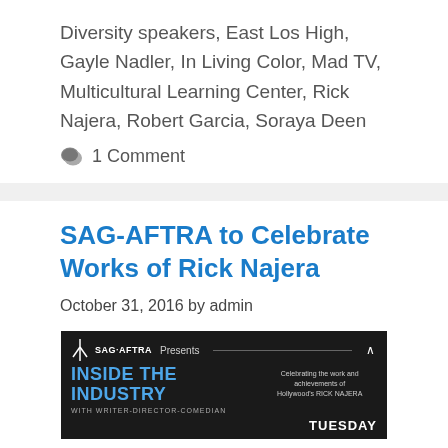Diversity speakers, East Los High, Gayle Nadler, In Living Color, Mad TV, Multicultural Learning Center, Rick Najera, Robert Garcia, Soraya Deen
💬 1 Comment
SAG-AFTRA to Celebrate Works of Rick Najera
October 31, 2016 by admin
[Figure (photo): SAG-AFTRA 'Inside the Industry' banner presenting a celebration of the work and achievements of Hollywood's Rick Najera, with writer-director-comedian subtitle, on dark background with Tuesday text visible]